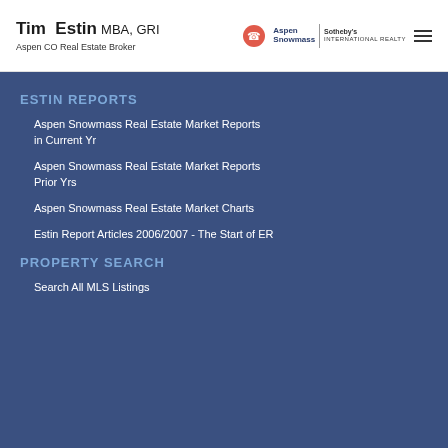Tim Estin MBA, GRI — Aspen CO Real Estate Broker
ESTIN REPORTS
Aspen Snowmass Real Estate Market Reports in Current Yr
Aspen Snowmass Real Estate Market Reports Prior Yrs
Aspen Snowmass Real Estate Market Charts
Estin Report Articles 2006/2007 - The Start of ER
PROPERTY SEARCH
Search All MLS Listings